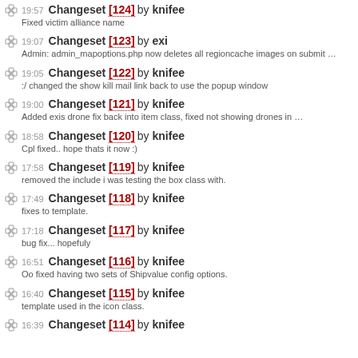19:57 Changeset [124] by knifee — Fixed victim alliance name
19:07 Changeset [123] by exi — Admin: admin_mapoptions.php now deletes all regioncache images on submit …
19:05 Changeset [122] by knifee — :/ changed the show kill mail link back to use the popup window
19:00 Changeset [121] by knifee — Added exis drone fix back into item class, fixed not showing drones in …
18:58 Changeset [120] by knifee — Cpl fixed.. hope thats it now :)
17:58 Changeset [119] by knifee — removed the include i was testing the box class with.
17:49 Changeset [118] by knifee — fixes to template.
17:18 Changeset [117] by knifee — bug fix... hopefuly
16:51 Changeset [116] by knifee — Oo fixed having two sets of Shipvalue config options.
16:40 Changeset [115] by knifee — template used in the icon class.
16:39 Changeset [114] by knifee